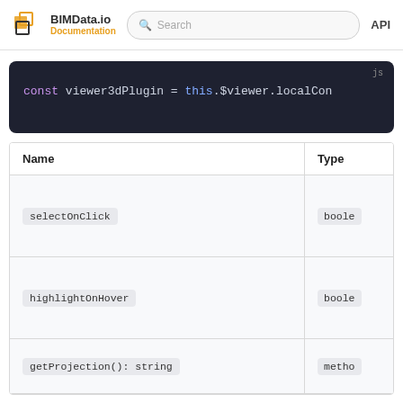BIMData.io Documentation | Search | API
[Figure (screenshot): Code block with dark background showing: const viewer3dPlugin = this.$viewer.localCon]
| Name | Type |
| --- | --- |
| selectOnClick | boole |
| highlightOnHover | boole |
| getProjection(): string | metho |